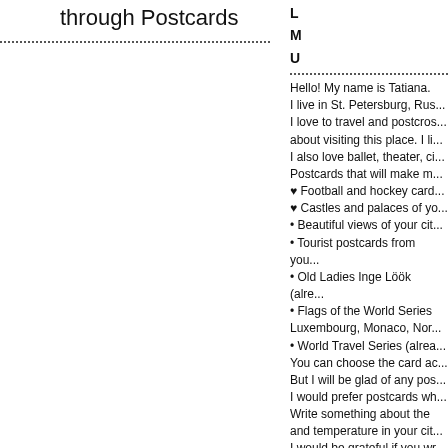through Postcards
L
M
U
Hello! My name is Tatiana. I live in St. Petersburg, Rus... I love to travel and postcros... about visiting this place. I li... I also love ballet, theater, ci... Postcards that will make m... ♥ Football and hockey card... ♥ Castles and palaces of yo... • Beautiful views of your cit... • Tourist postcards from you... • Old Ladies Inge Löök (alre... • Flags of the World Series Luxembourg, Monaco, Nor... • World Travel Series (alrea... You can choose the card ac... But I will be glad of any pos... I would prefer postcards wh... Write something about the and temperature in your cit... I would be grateful if you wr...
Thank you!